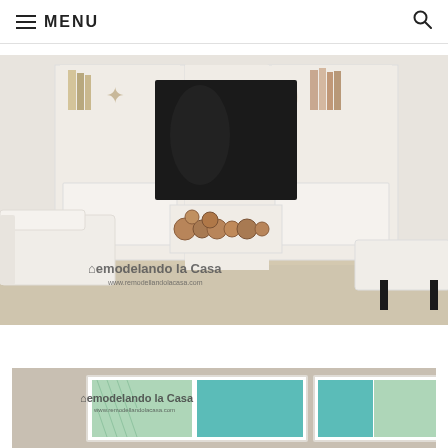MENU
[Figure (photo): Interior living room with white built-in bookshelves flanking a dark-framed fireplace insert with stacked logs below. A white sofa is on the left, a white ottoman on the right. Watermark reads 'Remodelando la Casa' and 'www.remodellandolacasa.com']
[Figure (photo): Partial view of framed fabric/art panels in turquoise and green diamond/ikat pattern on a beige wall. Watermark reads 'Remodelando la Casa' and 'www.remodellandolacasa.com']